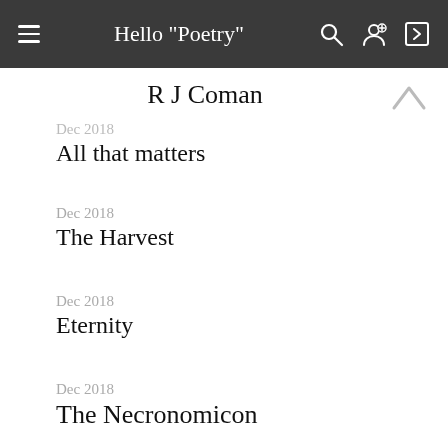Hello "Poetry"
R J Coman
Dec 2018
All that matters
Dec 2018
The Harvest
Dec 2018
Eternity
Dec 2018
The Necronomicon